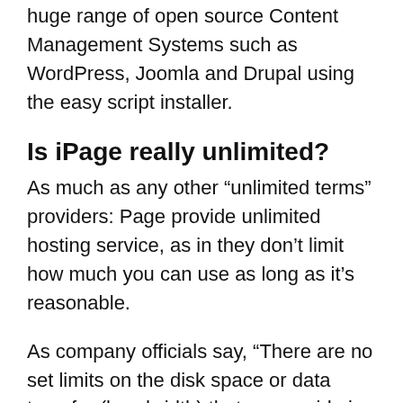huge range of open source Content Management Systems such as WordPress, Joomla and Drupal using the easy script installer.
Is iPage really unlimited?
As much as any other “unlimited terms” providers: Page provide unlimited hosting service, as in they don’t limit how much you can use as long as it’s reasonable.
As company officials say, “There are no set limits on the disk space or data transfer (bandwidth) that we provide in our hosting plans… 99.95% of all customers will have more than enough disk space and